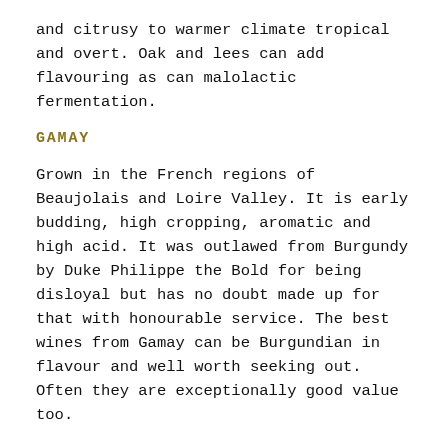and citrusy to warmer climate tropical and overt. Oak and lees can add flavouring as can malolactic fermentation.
GAMAY
Grown in the French regions of Beaujolais and Loire Valley. It is early budding, high cropping, aromatic and high acid. It was outlawed from Burgundy by Duke Philippe the Bold for being disloyal but has no doubt made up for that with honourable service. The best wines from Gamay can be Burgundian in flavour and well worth seeking out. Often they are exceptionally good value too.